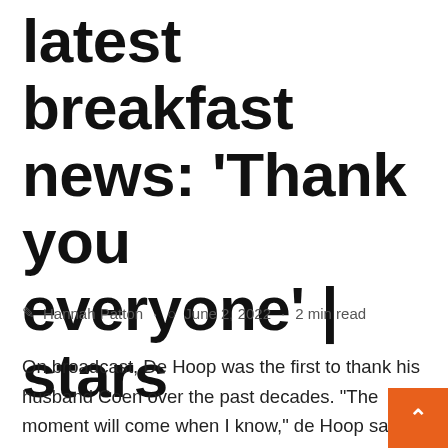latest breakfast news: 'Thank you everyone' | stars
Hannah Patton · June 2, 2022 · 2 min read
On broadcast, De Hoop was the first to thank his husband Coen over the past decades. "The moment will come when I know," de Hoop said before than some people. "To start with Quinn, my husband who supported me, the alarm went off too early for him too